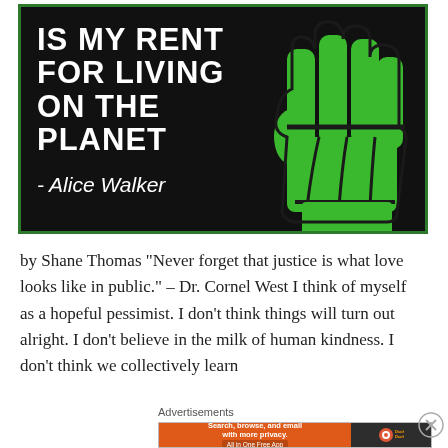[Figure (illustration): Black background graphic with bold white uppercase text 'IS MY RENT FOR LIVING ON THE PLANET' and attribution '- Alice Walker' in white italic, with a large green raised fist icon on the right side, bordered in dark green.]
by Shane Thomas “Never forget that justice is what love looks like in public.” – Dr. Cornel West I think of myself as a hopeful pessimist. I don’t think things will turn out alright. I don’t believe in the milk of human kindness. I don’t think we collectively learn
Advertisements
[Figure (illustration): DuckDuckGo advertisement banner: orange section with text 'Search, browse, and email with more privacy. All in One Free App', dark section with DuckDuckGo logo and text.]